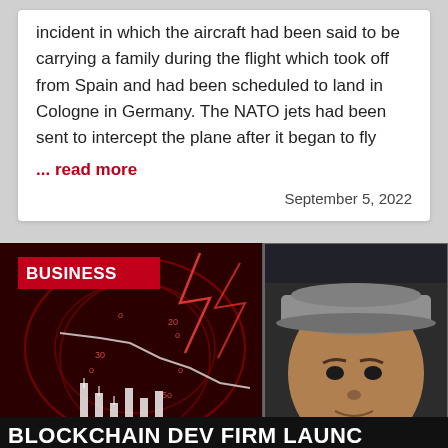incident in which the aircraft had been said to be carrying a family during the flight which took off from Spain and had been scheduled to land in Cologne in Germany. The NATO jets had been sent to intercept the plane after it began to fly
... read more
September 5, 2022
[Figure (photo): News article thumbnail showing a red financial chart/stock market background with lightning effects on the left, and a portrait photo of a middle-aged man wearing a grey flat cap on the right. A 'BUSINESS' red badge label is in the top-left corner. At the bottom is a black headline bar reading 'BLOCKCHAIN DEV FIRM LAUNC']